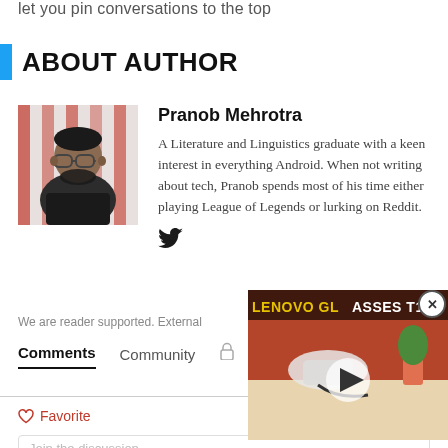let you pin conversations to the top
ABOUT AUTHOR
[Figure (photo): Author headshot of Pranob Mehrotra, a man with glasses and beard against a striped red and white background]
Pranob Mehrotra
A Literature and Linguistics graduate with a keen interest in everything Android. When not writing about tech, Pranob spends most of his time either playing League of Legends or lurking on Reddit.
[Figure (logo): Twitter bird icon]
We are reader supported. External
Comments   Community
Favorite   Sort by Best
Join the discussion
[Figure (screenshot): Video overlay thumbnail showing Lenovo Glasses T1 with play button, close button, and yellow title text]